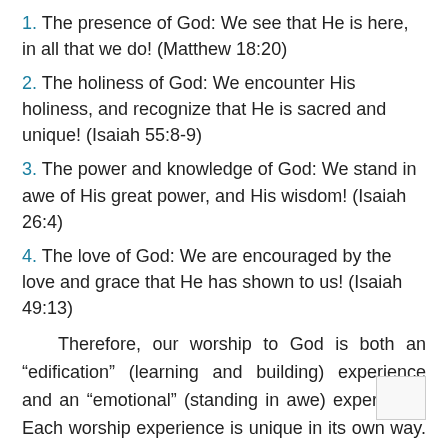1. The presence of God: We see that He is here, in all that we do! (Matthew 18:20)
2. The holiness of God: We encounter His holiness, and recognize that He is sacred and unique! (Isaiah 55:8-9)
3. The power and knowledge of God: We stand in awe of His great power, and His wisdom! (Isaiah 26:4)
4. The love of God: We are encouraged by the love and grace that He has shown to us! (Isaiah 49:13)
Therefore, our worship to God is both an “edification” (learning and building) experience and an “emotional” (standing in awe) experience. Each worship experience is unique in its own way. For this web page, we have tried to capture a typical worship service. Although most follow a format such as this, occasionally we do vary. We believe that there are five basic aspects of worship that was